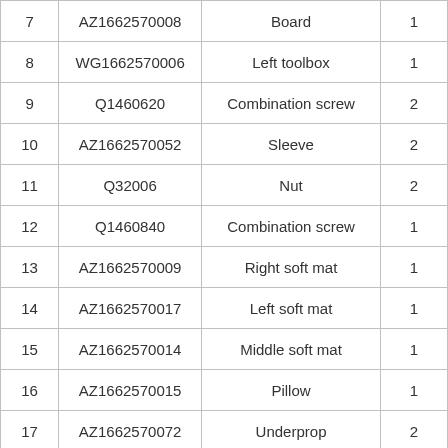| 7 | AZ1662570008 | Board | 1 |
| 8 | WG1662570006 | Left toolbox | 1 |
| 9 | Q1460620 | Combination screw | 2 |
| 10 | AZ1662570052 | Sleeve | 2 |
| 11 | Q32006 | Nut | 2 |
| 12 | Q1460840 | Combination screw | 1 |
| 13 | AZ1662570009 | Right soft mat | 1 |
| 14 | AZ1662570017 | Left soft mat | 1 |
| 15 | AZ1662570014 | Middle soft mat | 1 |
| 16 | AZ1662570015 | Pillow | 1 |
| 17 | AZ1662570072 | Underprop | 2 |
|  |  |  |  |